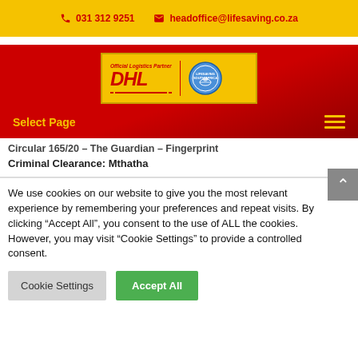031 312 9251  headoffice@lifesaving.co.za
[Figure (logo): DHL Official Logistics Partner logo with Lifesaving South Africa emblem on yellow background]
Select Page
Circular 165/20 – The Guardian – Fingerprint Criminal Clearance: Mthatha
We use cookies on our website to give you the most relevant experience by remembering your preferences and repeat visits. By clicking "Accept All", you consent to the use of ALL the cookies. However, you may visit "Cookie Settings" to provide a controlled consent.
Cookie Settings  Accept All